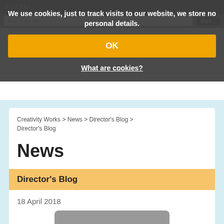We use cookies, just to track visits to our website, we store no personal details.
OK
What are cookies?
[Figure (logo): Creativity Works blue paint splash logo with 'WORKS' text]
through creativity to explore, develop and grow
Creativity Works > News > Director's Blog > Director's Blog
News
Director's Blog
18 April 2018
[Figure (photo): Partial photo of a person's face/head]